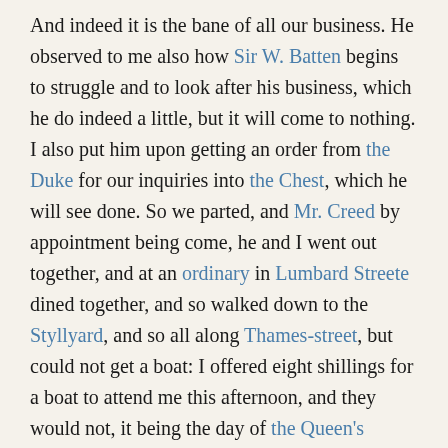And indeed it is the bane of all our business. He observed to me also how Sir W. Batten begins to struggle and to look after his business, which he do indeed a little, but it will come to nothing. I also put him upon getting an order from the Duke for our inquiries into the Chest, which he will see done. So we parted, and Mr. Creed by appointment being come, he and I went out together, and at an ordinary in Lumbard Streete dined together, and so walked down to the Styllyard, and so all along Thames-street, but could not get a boat: I offered eight shillings for a boat to attend me this afternoon, and they would not, it being the day of the Queen's coming to town from Hampton Court. So we fairly walked it to White Hall, and through my Lord's lodgings we got into White Hall garden, and so to the Bowling-green, and up to the top of the new Banqueting House there, over the Thames, which was a most pleasant place as any I could have got; and all the show